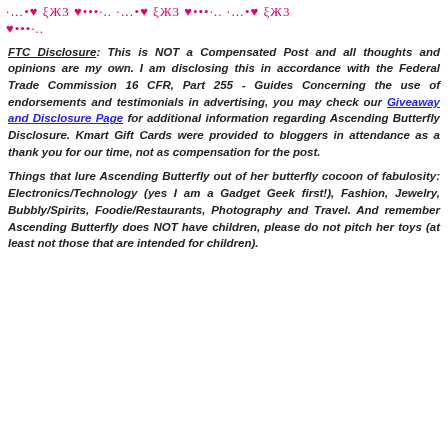·…•♥ ξЖ3 ♥•••·.. ·…•♥ ξЖ3 ♥•••·.. ·…•♥ ξЖ3 ♥•••·..
FTC Disclosure: This is NOT a Compensated Post and all thoughts and opinions are my own. I am disclosing this in accordance with the Federal Trade Commission 16 CFR, Part 255 - Guides Concerning the use of endorsements and testimonials in advertising, you may check our Giveaway and Disclosure Page for additional information regarding Ascending Butterfly Disclosure. Kmart Gift Cards were provided to bloggers in attendance as a thank you for our time, not as compensation for the post.
Things that lure Ascending Butterfly out of her butterfly cocoon of fabulosity: Electronics/Technology (yes I am a Gadget Geek first!), Fashion, Jewelry, Bubbly/Spirits, Foodie/Restaurants, Photography and Travel. And remember Ascending Butterfly does NOT have children, please do not pitch her toys (at least not those that are intended for children).